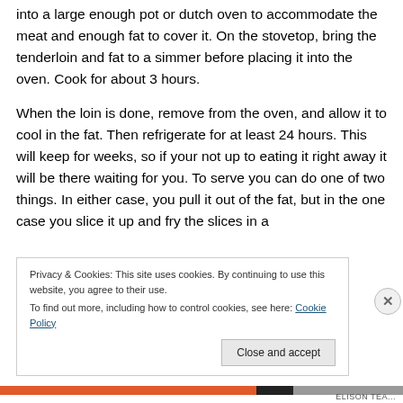Pre-heat the oven to 200 F. Trim up the tenderloin and fit it into a large enough pot or dutch oven to accommodate the meat and enough fat to cover it. On the stovetop, bring the tenderloin and fat to a simmer before placing it into the oven. Cook for about 3 hours.
When the loin is done, remove from the oven, and allow it to cool in the fat. Then refrigerate for at least 24 hours. This will keep for weeks, so if your not up to eating it right away it will be there waiting for you. To serve you can do one of two things. In either case, you pull it out of the fat, but in the one case you slice it up and fry the slices in a
Privacy & Cookies: This site uses cookies. By continuing to use this website, you agree to their use.
To find out more, including how to control cookies, see here: Cookie Policy
Close and accept